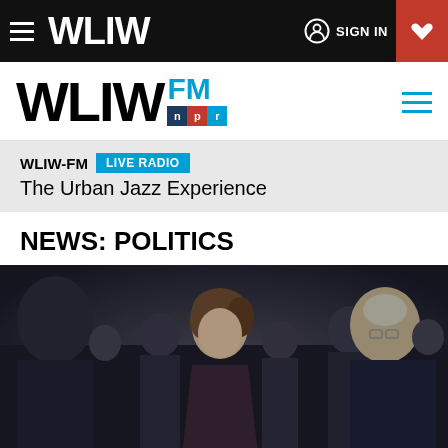WLIW — SIGN IN
[Figure (logo): WLIW FM NPR logo with hamburger menu]
WLIW-FM LIVE RADIO — The Urban Jazz Experience
NEWS: POLITICS
[Figure (photo): A woman in a dark purple dress standing in a crowd of people in suits, at what appears to be a political or formal event]